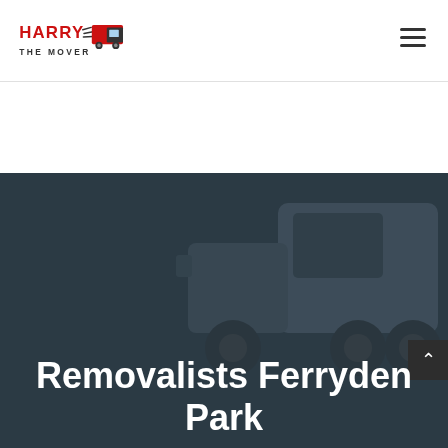[Figure (logo): Harry the Mover logo with red truck and bold red text]
Removalists Ferryden Park